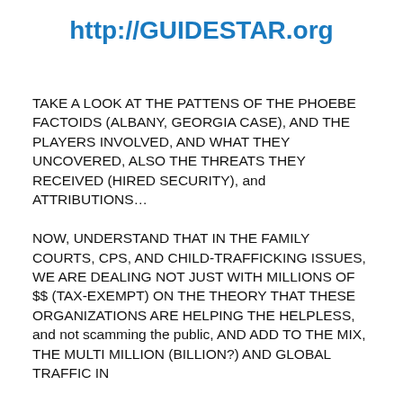http://GUIDESTAR.org
TAKE A LOOK AT THE PATTENS OF THE PHOEBE FACTOIDS (ALBANY, GEORGIA CASE), AND THE PLAYERS INVOLVED, AND WHAT THEY UNCOVERED, ALSO THE THREATS THEY RECEIVED (HIRED SECURITY), and ATTRIBUTIONS…
NOW, UNDERSTAND THAT IN THE FAMILY COURTS, CPS, AND CHILD-TRAFFICKING ISSUES, WE ARE DEALING NOT JUST WITH MILLIONS OF $$ (TAX-EXEMPT) ON THE THEORY THAT THESE ORGANIZATIONS ARE HELPING THE HELPLESS, and not scamming the public, AND ADD TO THE MIX, THE MULTI MILLION (BILLION?) AND GLOBAL TRAFFIC IN